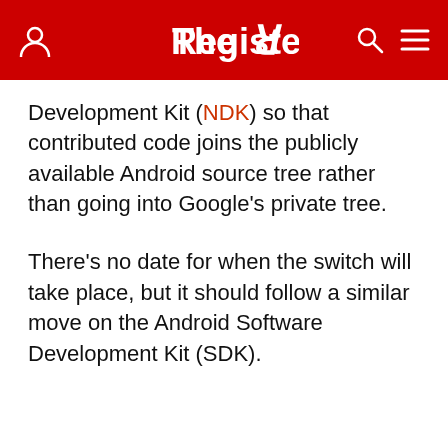The Register
Development Kit (NDK) so that contributed code joins the publicly available Android source tree rather than going into Google's private tree.
There's no date for when the switch will take place, but it should follow a similar move on the Android Software Development Kit (SDK).